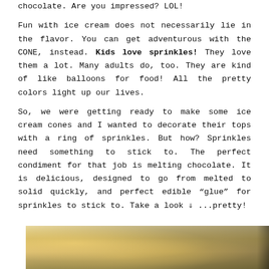Occasionally I add a little excitement and go with chocolate. Are you impressed? LOL! Fun with ice cream does not necessarily lie in the flavor. You can get adventurous with the CONE, instead. Kids love sprinkles! They love them a lot. Many adults do, too. They are kind of like balloons for food! All the pretty colors light up our lives.

So, we were getting ready to make some ice cream cones and I wanted to decorate their tops with a ring of sprinkles. But how? Sprinkles need something to stick to. The perfect condiment for that job is melting chocolate. It is delicious, designed to go from melted to solid quickly, and perfect edible “glue” for sprinkles to stick to. Take a look ⇓ ...pretty!
[Figure (photo): Close-up photo of ice cream cones with sprinkles and chocolate, showing the tops of cones decorated with a ring of sprinkles, warm golden tones]